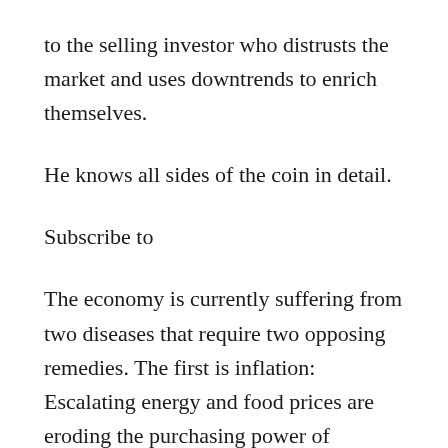to the selling investor who distrusts the market and uses downtrends to enrich themselves.
He knows all sides of the coin in detail.
Subscribe to
The economy is currently suffering from two diseases that require two opposing remedies. The first is inflation: Escalating energy and food prices are eroding the purchasing power of consumers, who are being forced to cut back on spending. To